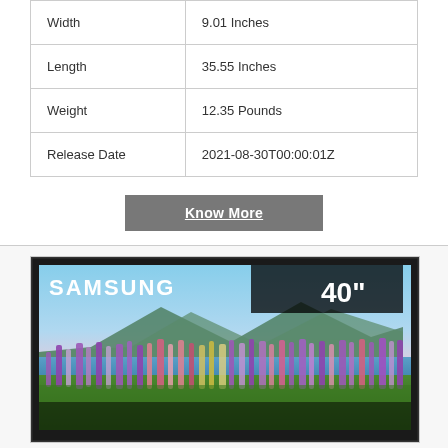| Attribute | Value |
| --- | --- |
| Width | 9.01 Inches |
| Length | 35.55 Inches |
| Weight | 12.35 Pounds |
| Release Date | 2021-08-30T00:00:01Z |
Know More
[Figure (photo): Samsung 40-inch TV product photo showing the TV display with a scenic landscape of a lake and purple lupine flowers. The screen shows 'SAMSUNG' branding and '40"' in the top right corner.]